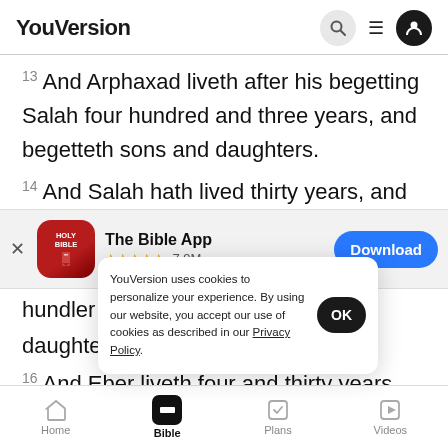YouVersion
13 And Arphaxad liveth after his begetting Salah four hundred and three years, and begetteth sons and daughters.
14 And Salah hath lived thirty years, and
[Figure (screenshot): The Bible App download banner with Holy Bible icon, 5 stars rating, 7.9M reviews, and Download button]
hundre
daught
YouVersion uses cookies to personalize your experience. By using our website, you accept our use of cookies as described in our Privacy Policy.
16 And Eber liveth four and thirty years, and
Home | Bible | Plans | Videos